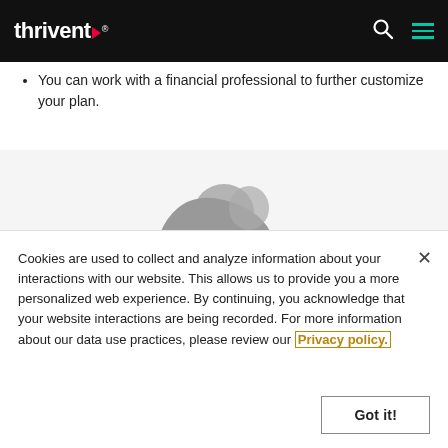Thrivent
You can work with a financial professional to further customize your plan.
[Figure (illustration): Partial illustration showing a gray figure/person with a blue element, set against a light gray background.]
Cookies are used to collect and analyze information about your interactions with our website. This allows us to provide you a more personalized web experience. By continuing, you acknowledge that your website interactions are being recorded. For more information about our data use practices, please review our Privacy policy.
Got it!